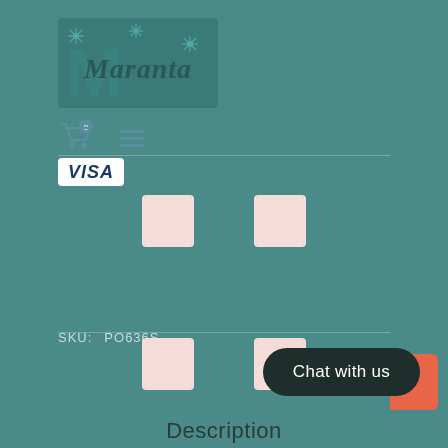[Figure (logo): Maranta brand logo with decorative star/snowflake patterns and cursive 'Maranta' text on teal background]
[Figure (infographic): Navigation bar with shopping cart icon showing 0 badge and hamburger menu icon]
[Figure (logo): VISA payment method logo in white box]
[Figure (infographic): Two pink/rose colored square placeholder boxes]
SKU: PO636S
[Figure (infographic): Two pink/rose colored square placeholder boxes near SKU row]
[Figure (infographic): Chat with us button in dark rounded pill shape with coral accent block]
Description